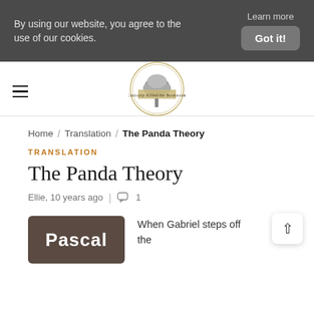By using our website, you agree to the use of our cookies.
Learn more
Got it!
[Figure (logo): Curiosity Killed the Bookworm circular logo with tree illustration]
Home / Translation / The Panda Theory
TRANSLATION
The Panda Theory
Ellie, 10 years ago  |  ☺ 1
[Figure (illustration): Book cover image showing 'Pascal' text on brown/dark taupe background]
When Gabriel steps off the